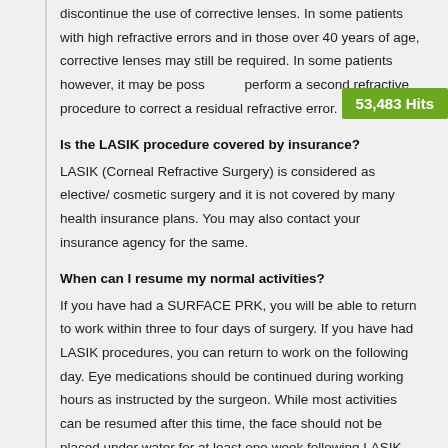discontinue the use of corrective lenses. In some patients with high refractive errors and in those over 40 years of age, corrective lenses may still be required. In some patients however, it may be possible to perform a second refractive procedure to correct a residual refractive error.
Is the LASIK procedure covered by insurance?
LASIK (Corneal Refractive Surgery) is considered as elective/ cosmetic surgery and it is not covered by many health insurance plans. You may also contact your insurance agency for the same.
When can I resume my normal activities?
If you have had a SURFACE PRK, you will be able to return to work within three to four days of surgery. If you have had LASIK procedures, you can return to work on the following day. Eye medications should be continued during working hours as instructed by the surgeon. While most activities can be resumed after this time, the face should not be placed under water for at least one week following LASIK. Care should also be taken to avoid any trauma to the eye including rubbing of the eyes during this period.